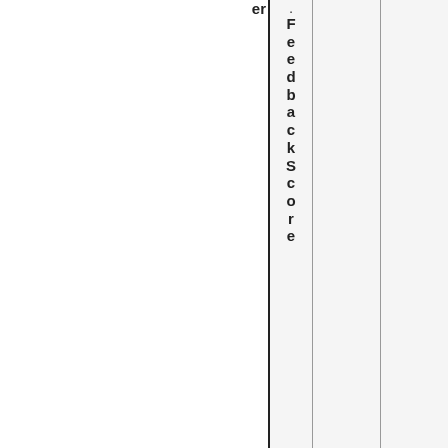| er | . | FeedbackScore |  |  |
| --- | --- | --- | --- | --- |